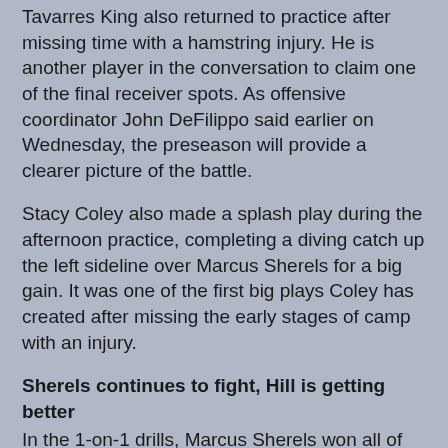Tavarres King also returned to practice after missing time with a hamstring injury. He is another player in the conversation to claim one of the final receiver spots. As offensive coordinator John DeFilippo said earlier on Wednesday, the preseason will provide a clearer picture of the battle.
Stacy Coley also made a splash play during the afternoon practice, completing a diving catch up the left sideline over Marcus Sherels for a big gain. It was one of the first big plays Coley has created after missing the early stages of camp with an injury.
Sherels continues to fight, Hill is getting better
In the 1-on-1 drills, Marcus Sherels won all of his reps, aside from the above loss to Zysltra. He had a great pass breakup intended for Jake Wieneke in the end zone. Sherels has been solid for a large portion of training camp and is hanging around just like he always does. It's going to be a numbers game, especially considering the performance of cornerback Holton Hill. Hill had a great pass breakup on a fade in the back corner of the end zone intended for Kendall Wright. He